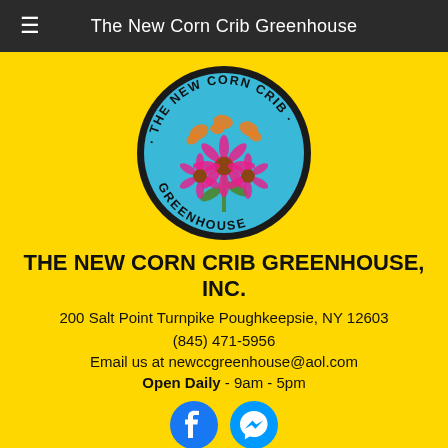The New Corn Crib Greenhouse
[Figure (logo): Circular logo for The New Corn Crib Greenhouse with a blue background, showing butterflies and pink echinacea flowers, with text around the border reading 'THE NEW CORN CRIB · GREENHOUSE ·']
THE NEW CORN CRIB GREENHOUSE, INC.
200 Salt Point Turnpike Poughkeepsie, NY 12603
(845) 471-5956
Email us at newccgreenhouse@aol.com
Open Daily - 9am - 5pm
[Figure (logo): Facebook and Facebook Messenger social media icons in blue circles]
15% MILITARY DISCOUNT